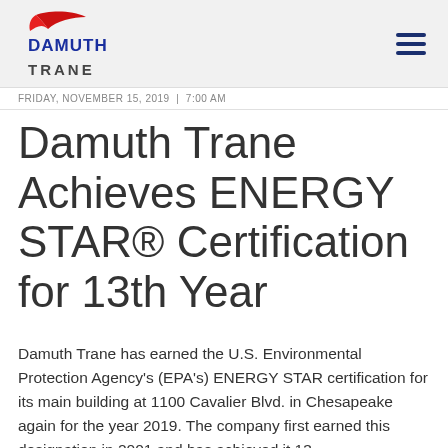[Figure (logo): Damuth Trane logo with red swoosh graphic above blue DAMUTH text and gray TRANE text below, plus hamburger menu icon on the right]
FRIDAY, NOVEMBER 15, 2019 | 7:00 AM
Damuth Trane Achieves ENERGY STAR® Certification for 13th Year
Damuth Trane has earned the U.S. Environmental Protection Agency's (EPA's) ENERGY STAR certification for its main building at 1100 Cavalier Blvd. in Chesapeake again for the year 2019. The company first earned this designation in 2001 and has achieved it 13